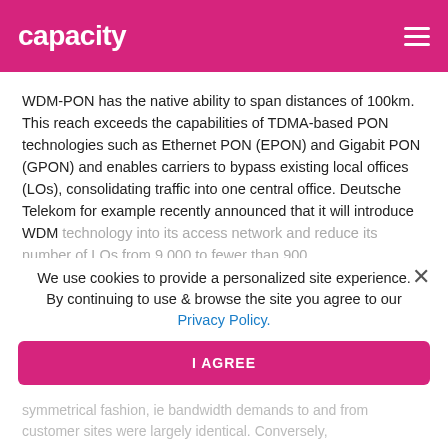capacity
WDM-PON has the native ability to span distances of 100km. This reach exceeds the capabilities of TDMA-based PON technologies such as Ethernet PON (EPON) and Gigabit PON (GPON) and enables carriers to bypass existing local offices (LOs), consolidating traffic into one central office. Deutsche Telekom for example recently announced that it will introduce WDM technology into its access network and reduce its number of LOs from 9,000 to fewer than 900.
We use cookies to provide a personalized site experience. By continuing to use & browse the site you agree to our Privacy Policy.
Why is WDM-PON necessary?
Business services have historically been developed in a symmetrical fashion, ie bandwidth demands to and from customer sites were largely identical. Conversely, bandwidth requirements of residential customers...